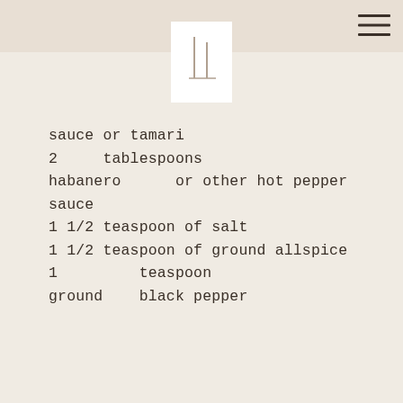[Figure (logo): Minimalist logo showing two vertical lines with a horizontal base line, white background square on beige header]
sauce or tamari
2 tablespoons habanero or other hot pepper sauce
1 1/2 teaspoon of salt
1 1/2 teaspoon of ground allspice
1 teaspoon ground black pepper